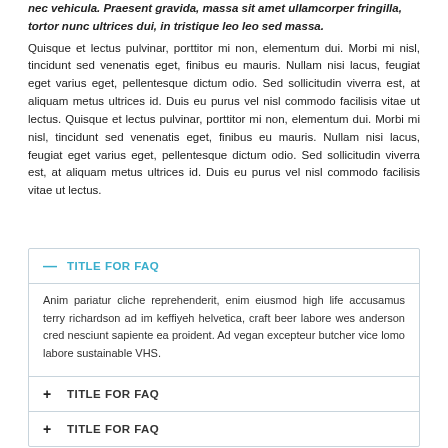nec vehicula. Praesent gravida, massa sit amet ullamcorper fringilla, tortor nunc ultrices dui, in tristique leo leo sed massa. Quisque et lectus pulvinar, porttitor mi non, elementum dui. Morbi mi nisl, tincidunt sed venenatis eget, finibus eu mauris. Nullam nisi lacus, feugiat eget varius eget, pellentesque dictum odio. Sed sollicitudin viverra est, at aliquam metus ultrices id. Duis eu purus vel nisl commodo facilisis vitae ut lectus. Quisque et lectus pulvinar, porttitor mi non, elementum dui. Morbi mi nisl, tincidunt sed venenatis eget, finibus eu mauris. Nullam nisi lacus, feugiat eget varius eget, pellentesque dictum odio. Sed sollicitudin viverra est, at aliquam metus ultrices id. Duis eu purus vel nisl commodo facilisis vitae ut lectus.
TITLE FOR FAQ
Anim pariatur cliche reprehenderit, enim eiusmod high life accusamus terry richardson ad im keffiyeh helvetica, craft beer labore wes anderson cred nesciunt sapiente ea proident. Ad vegan excepteur butcher vice lomo labore sustainable VHS.
TITLE FOR FAQ
TITLE FOR FAQ